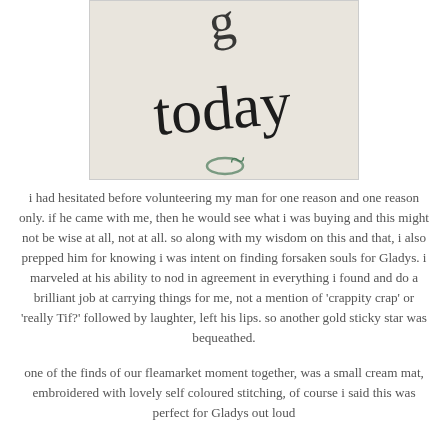[Figure (photo): Close-up photo of cream/white fabric with black embroidered cursive text reading 'today' and partial letters above, with green embroidered detail at bottom]
i had hesitated before volunteering my man for one reason and one reason only. if he came with me, then he would see what i was buying and this might not be wise at all, not at all. so along with my wisdom on this and that, i also prepped him for knowing i was intent on finding forsaken souls for Gladys. i marveled at his ability to nod in agreement in everything i found and do a brilliant job at carrying things for me, not a mention of 'crappity crap' or 'really Tif?' followed by laughter, left his lips. so another gold sticky star was bequeathed.
one of the finds of our fleamarket moment together, was a small cream mat, embroidered with lovely self coloured stitching, of course i said this was perfect for Gladys out loud